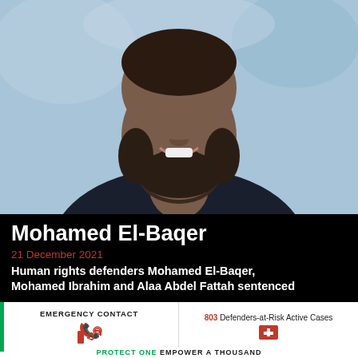[Figure (photo): Close-up portrait photo of Mohamed El-Baqer, a man with a beard wearing a dark suit jacket, white shirt, and grey/dark tie, smiling at the camera against a blurred outdoor background.]
Mohamed El-Baqer
21 December 2021
Human rights defenders Mohamed El-Baqer, Mohamed Ibrahim and Alaa Abdel Fattah sentenced
EMERGENCY CONTACT
803 Defenders-at-Risk Active Cases
PROTECT ONE EMPOWER A THOUSAND